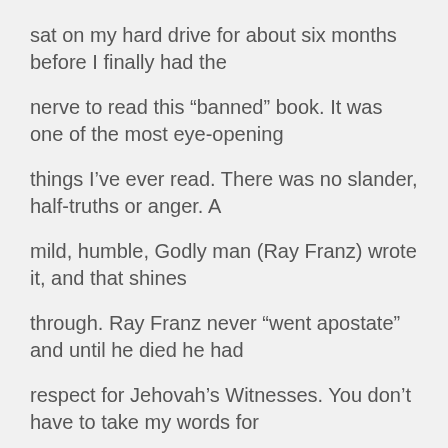sat on my hard drive for about six months before I finally had the
nerve to read this “banned” book. It was one of the most eye-opening
things I’ve ever read. There was no slander, half-truths or anger. A
mild, humble, Godly man (Ray Franz) wrote it, and that shines
through. Ray Franz never “went apostate” and until he died he had
respect for Jehovah’s Witnesses. You don’t have to take my words for
it…